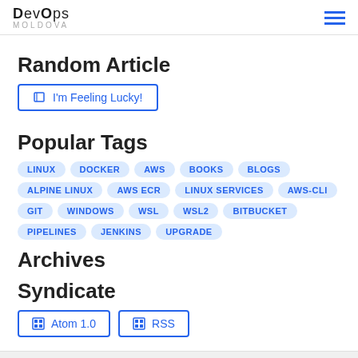DevOps Moldova
Random Article
I'm Feeling Lucky!
Popular Tags
LINUX
DOCKER
AWS
BOOKS
BLOGS
ALPINE LINUX
AWS ECR
LINUX SERVICES
AWS-CLI
GIT
WINDOWS
WSL
WSL2
BITBUCKET
PIPELINES
JENKINS
UPGRADE
Archives
Syndicate
Atom 1.0
RSS